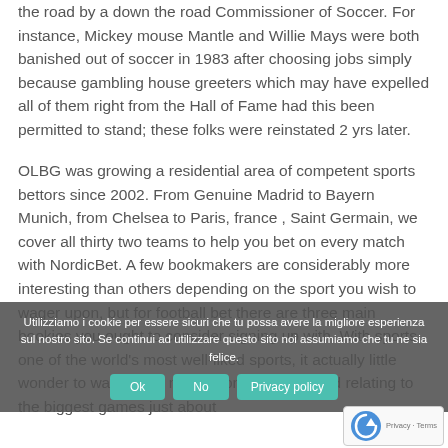the road by a down the road Commissioner of Soccer. For instance, Mickey mouse Mantle and Willie Mays were both banished out of soccer in 1983 after choosing jobs simply because gambling house greeters which may have expelled all of them right from the Hall of Fame had this been permitted to stand; these folks were reinstated 2 yrs later.
OLBG was growing a residential area of competent sports bettors since 2002. From Genuine Madrid to Bayern Munich, from Chelsea to Paris, france , Saint Germain, we cover all thirty two teams to help you bet on every match with NordicBet. A few bookmakers are considerably more interesting than others depending on the sport you wish to wager upon, but for football bet there are three main bookies you ought to consider signing up with. With sports one of the world's most well-liked sports, it actually little wonder to watch very much money c be staked relating to the biggest games just about
Utilizziamo i cookie per essere sicuri che tu possa avere la migliore esperienza sul nostro sito. Se continui ad utilizzare questo sito noi assumiamo che tu ne sia felice.